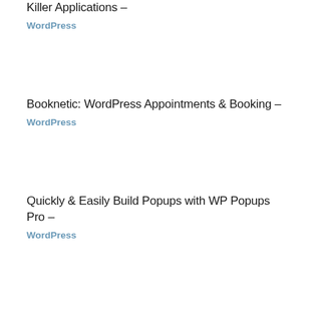Killer Applications –
WordPress
Booknetic: WordPress Appointments & Booking –
WordPress
Quickly & Easily Build Popups with WP Popups Pro –
WordPress